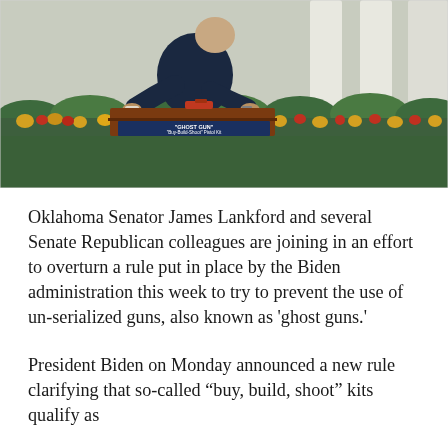[Figure (photo): President Biden leaning over a display table showing a 'Ghost Gun' Buy-Build-Shoot Pistol Kit, with white columns and yellow flowers visible in the background garden setting.]
Oklahoma Senator James Lankford and several Senate Republican colleagues are joining in an effort to overturn a rule put in place by the Biden administration this week to try to prevent the use of un-serialized guns, also known as 'ghost guns.'
President Biden on Monday announced a new rule clarifying that so-called "buy, build, shoot" kits qualify as